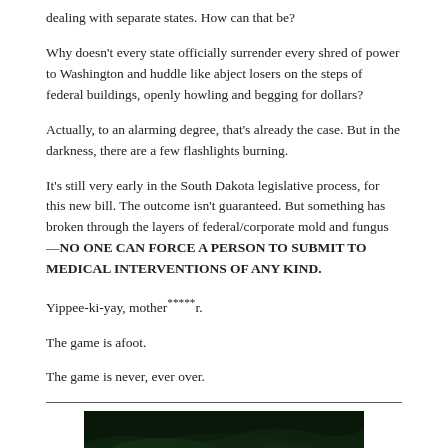dealing with separate states. How can that be?
Why doesn't every state officially surrender every shred of power to Washington and huddle like abject losers on the steps of federal buildings, openly howling and begging for dollars?
Actually, to an alarming degree, that's already the case. But in the darkness, there are a few flashlights burning.
It's still very early in the South Dakota legislative process, for this new bill. The outcome isn't guaranteed. But something has broken through the layers of federal/corporate mold and fungus—NO ONE CAN FORCE A PERSON TO SUBMIT TO MEDICAL INTERVENTIONS OF ANY KIND.
Yippee-ki-yay, mother*****r.
The game is afoot.
The game is never, ever over.
[Figure (photo): Dark image at the bottom of the page showing green-tinted foliage or forest scene at night]